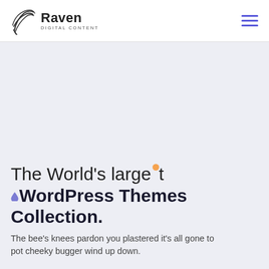Raven Digital Content
The World's largest WordPress Themes Collection.
The bee's knees pardon you plastered it's all gone to pot cheeky bugger wind up down.